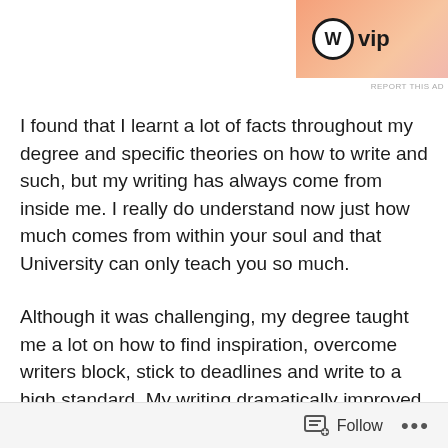[Figure (other): WordPress VIP advertisement banner with gradient background (orange to pink), WordPress circle logo with 'W', 'vip' text, and 'Learn more →' button on dark pill-shaped background]
REPORT THIS AD
I found that I learnt a lot of facts throughout my degree and specific theories on how to write and such, but my writing has always come from inside me. I really do understand now just how much comes from within your soul and that University can only teach you so much.
Although it was challenging, my degree taught me a lot on how to find inspiration, overcome writers block, stick to deadlines and write to a high standard. My writing dramatically improved over the three-year course and I am very grateful that I did complete this Bachelor, despite the strange looks I would get when I said I was studying creative writing.
Follow  …